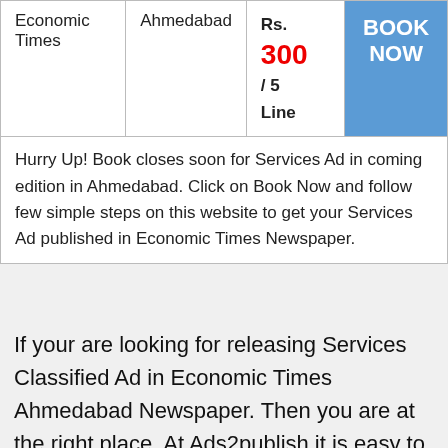|  |  |  |  |
| --- | --- | --- | --- |
| Economic Times | Ahmedabad | Rs.
300
/ 5
Line | BOOK NOW |
| Hurry Up! Book closes soon for Services Ad in coming edition in Ahmedabad. Click on Book Now and follow few simple steps on this website to get your Services Ad published in Economic Times Newspaper. |  |  |  |
If your are looking for releasing Services Classified Ad in Economic Times Ahmedabad Newspaper. Then you are at the right place. At Ads2publish it is easy to book Services classified Ad at the lowest rates in Economic Times Ahmedabad Newspaper. We are are fully